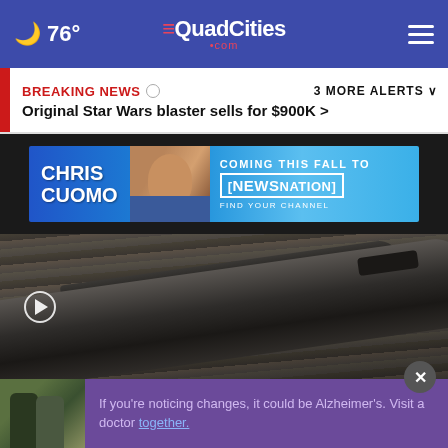76° | QuadCities.com
BREAKING NEWS | 3 MORE ALERTS
Original Star Wars blaster sells for $900K >
[Figure (screenshot): Chris Cuomo advertisement banner for NewsNation — Coming This Fall To NewsNation, Find Your Channel]
[Figure (photo): Close-up video thumbnail of a Star Wars blaster prop with play button overlay]
[Figure (screenshot): Ad overlay: Two people, purple background text: If you're noticing changes, it could be Alzheimer's. Visit a doctor together. X close button visible.]